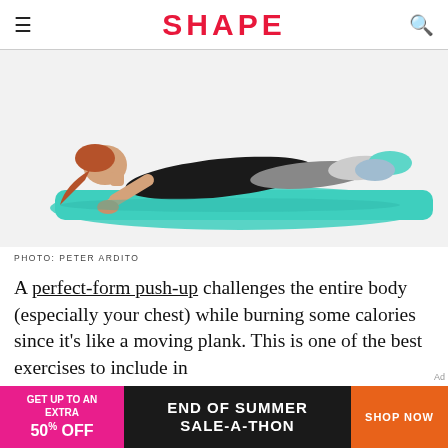SHAPE
[Figure (photo): Woman in black athletic wear performing a plank/push-up position on a teal yoga mat against a white background. Photo by Peter Ardito.]
PHOTO: PETER ARDITO
A perfect-form push-up challenges the entire body (especially your chest) while burning some calories since it's like a moving plank. This is one of the best exercises to include in
[Figure (infographic): End of Summer Sale-A-Thon advertisement banner: pink section 'GET UP TO AN EXTRA 50% OFF', black section 'END OF SUMMER SALE-A-THON', orange button 'SHOP NOW']